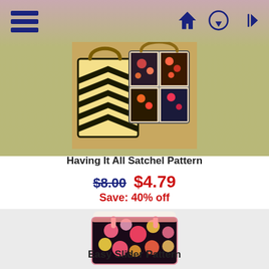Navigation bar with hamburger menu, home icon, upload icon, sign-in icon
[Figure (photo): Two quilted tote bags with black and yellow chevron pattern and floral patchwork design]
Having It All Satchel Pattern
$8.00  $4.79  Save: 40% off
[Figure (photo): Person wearing a colorful floral pink and yellow backpack/slider bag]